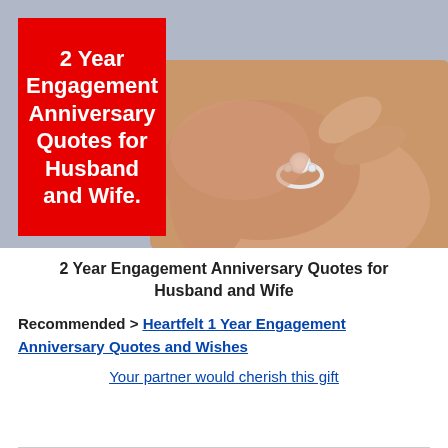[Figure (photo): Hands holding a diamond engagement ring, with a red overlay box on the left containing the title text in white.]
2 Year Engagement Anniversary Quotes for Husband and Wife
Recommended > Heartfelt 1 Year Engagement Anniversary Quotes and Wishes
Your partner would cherish this gift